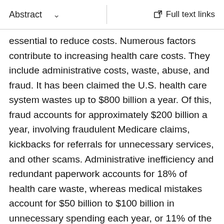Abstract  ∨   Full text links
essential to reduce costs. Numerous factors contribute to increasing health care costs. They include administrative costs, waste, abuse, and fraud. It has been claimed the U.S. health care system wastes up to $800 billion a year. Of this, fraud accounts for approximately $200 billion a year, involving fraudulent Medicare claims, kickbacks for referrals for unnecessary services, and other scams. Administrative inefficiency and redundant paperwork accounts for 18% of health care waste, whereas medical mistakes account for $50 billion to $100 billion in unnecessary spending each year, or 11% of the total. Further, American physicians spend nearly 8 hours per week on paperwork and employ 1.66 clerical workers per doctor, more than any other country. It has been illustrated that it takes $60,000 to $88,000 per physician per year, equal to one-third of a family practitioner's gross income, and $23 to $31 billion each year in total to